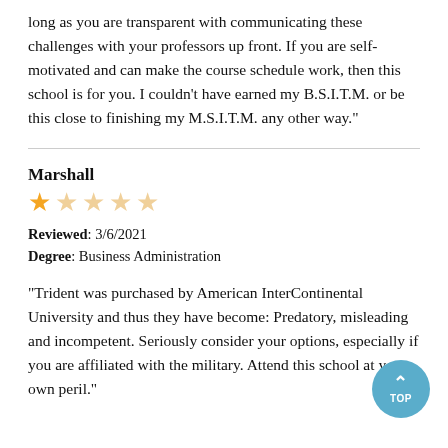long as you are transparent with communicating these challenges with your professors up front. If you are self-motivated and can make the course schedule work, then this school is for you. I couldn't have earned my B.S.I.T.M. or be this close to finishing my M.S.I.T.M. any other way."
Marshall
[Figure (other): 1 out of 5 stars rating: one filled gold star followed by four light/empty gold stars]
Reviewed: 3/6/2021
Degree: Business Administration
"Trident was purchased by American InterContinental University and thus they have become: Predatory, misleading and incompetent. Seriously consider your options, especially if you are affiliated with the military. Attend this school at your own peril."